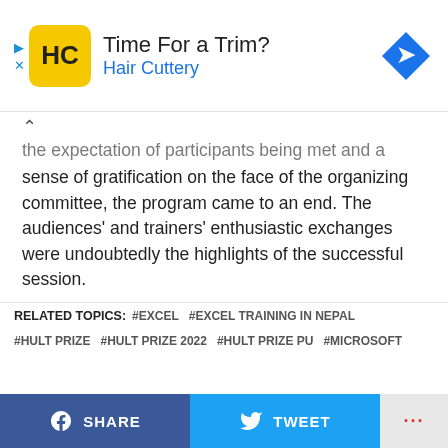[Figure (screenshot): Hair Cuttery advertisement banner with yellow HC logo, 'Time For a Trim?' headline, blue 'Hair Cuttery' subtitle, and blue diamond navigation icon]
the expectation of participants being met and a sense of gratification on the face of the organizing committee, the program came to an end. The audiences' and trainers' enthusiastic exchanges were undoubtedly the highlights of the successful session.
To learn more about hult prize you can visit their official website : https://oncampus.hultprize.org/pokharauniversity
Facebook Comments
RELATED TOPICS: #EXCEL #EXCEL TRAINING IN NEPAL #HULT PRIZE #HULT PRIZE 2022 #HULT PRIZE PU #MICROSOFT
[Figure (screenshot): Social share bar with Facebook SHARE button, Twitter TWEET button, and more options dots]